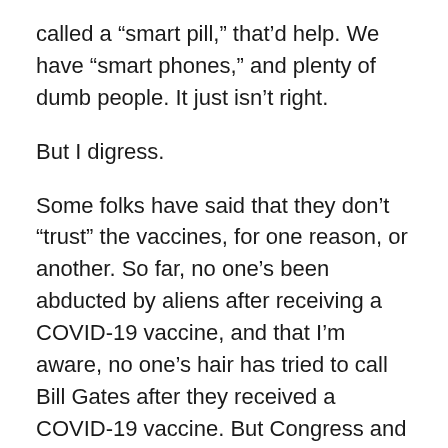called a “smart pill,” that’d help. We have “smart phones,” and plenty of dumb people. It just isn’t right.
But I digress.
Some folks have said that they don’t “trust” the vaccines, for one reason, or another. So far, no one’s been abducted by aliens after receiving a COVID-19 vaccine, and that I’m aware, no one’s hair has tried to call Bill Gates after they received a COVID-19 vaccine. But Congress and the Department of Defense have released videos of what we once called “UFOs” – Unidentified Flying Objects. Now they’re called UAPs — Unidentified Aerial Phenomena. But I still like UFO. Still, no one knows what they are. Hence, the name. And quite fortunately, there’ve been no reports of folks growing tails and swinging from trees afterward, either. But doubtless, some have eaten